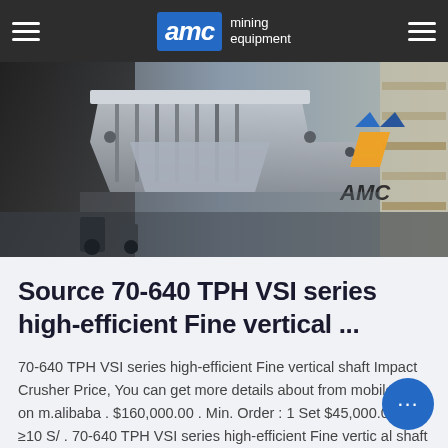AMC mining equipment
[Figure (photo): Close-up photo of industrial mining crushing equipment (VSI crusher), with AMC logo visible on the machine]
Source 70-640 TPH VSI series high-efficient Fine vertical ...
70-640 TPH VSI series high-efficient Fine vertical shaft Impact Crusher Price, You can get more details about from mobile site on m.alibaba . $160,000.00 . Min. Order : 1 Set $45,000.00 . ≥10 S/ . 70-640 TPH VSI series high-efficient Fine vertical shaft Impact Crusher Price .